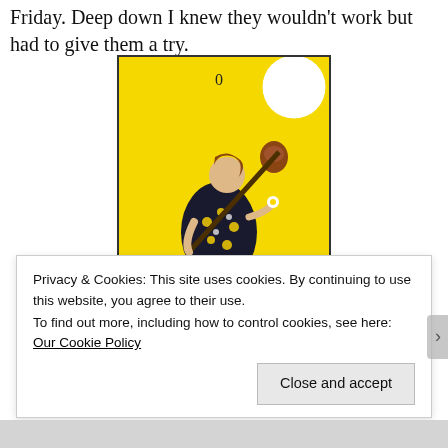Friday. Deep down I knew they wouldn't work but had to give them a try.
[Figure (illustration): Tarot card illustration of 'The Fool' — a figure in a colorful flowered tunic and yellow tights, holding a staff over one shoulder with a bag, and a white flower in the other hand, stepping off a cliff edge. A small dog barks behind. Bright yellow sky with a shining sun in upper right. Roman numeral 0 at top. Rocky cliff at bottom.]
Privacy & Cookies: This site uses cookies. By continuing to use this website, you agree to their use.
To find out more, including how to control cookies, see here: Our Cookie Policy
Close and accept